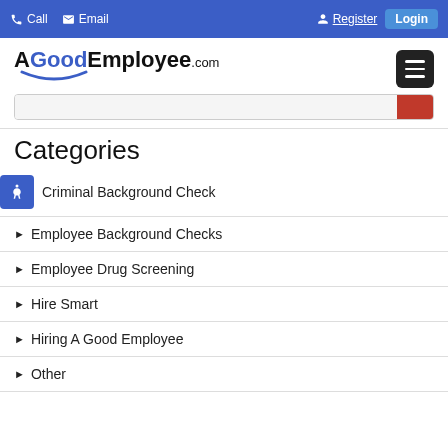Call  Email  Register  Login
[Figure (logo): AGoodEmployee.com logo with blue smile arc beneath text and hamburger menu icon]
Categories
Criminal Background Check
Employee Background Checks
Employee Drug Screening
Hire Smart
Hiring A Good Employee
Other